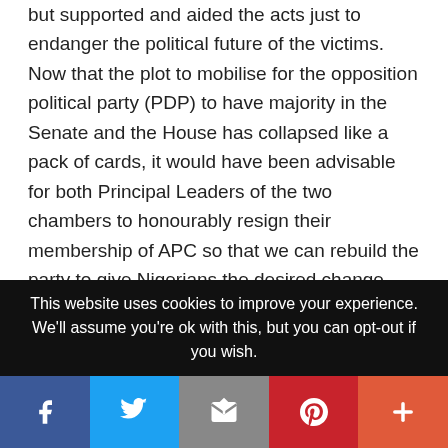but supported and aided the acts just to endanger the political future of the victims. Now that the plot to mobilise for the opposition political party (PDP) to have majority in the Senate and the House has collapsed like a pack of cards, it would have been advisable for both Principal Leaders of the two chambers to honourably resign their membership of APC so that we can rebuild the party to give Nigerians the desired change which both Saraki and Dogara have made impossible by frustrating most of the good policies of this administration”, Eze said in a statement he issued.
He cited the delay in the passage of the 2018 national budget as one of the anti-people postures of the National Assembly amongst other key policies of the Federal Government
This website uses cookies to improve your experience. We'll assume you're ok with this, but you can opt-out if you wish.